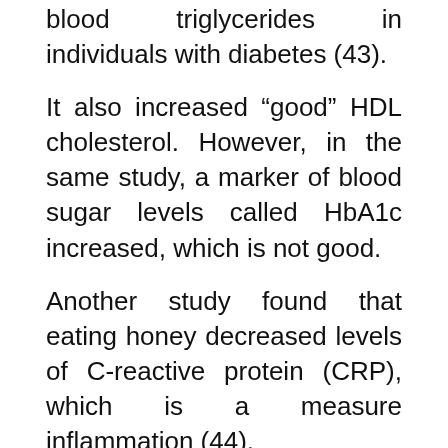blood triglycerides in individuals with diabetes (43).
It also increased “good” HDL cholesterol. However, in the same study, a marker of blood sugar levels called HbA1c increased, which is not good.
Another study found that eating honey decreased levels of C-reactive protein (CRP), which is a measure inflammation (44).
It also lowered homocysteine, another blood marker associated with disease.
Furthermore, both of these studies showed that honey had slightly less harmful effects on blood sugar levels and metabolism than regular sugar